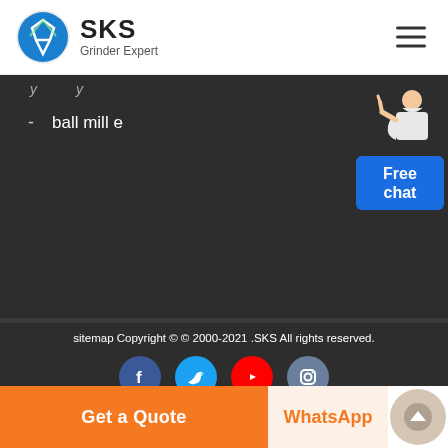[Figure (logo): SKS Grinder Expert logo with circular green and blue emblem and text]
- ball mill e
[Figure (illustration): Customer service chat widget showing a person and a blue Free chat button]
sitemap Copyright © © 2000-2021 .SKS All rights reserved.
[Figure (infographic): Social media icons: Facebook, Twitter, YouTube, Instagram]
Get a Quote
WhatsApp